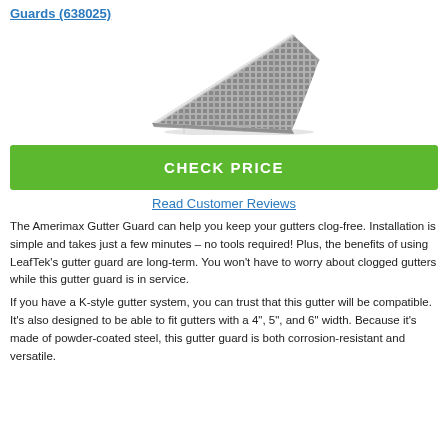Guards (638025)
[Figure (photo): Product photo of a metal mesh gutter guard panel, shown at an angle with a diamond-pattern mesh texture.]
CHECK PRICE
Read Customer Reviews
The Amerimax Gutter Guard can help you keep your gutters clog-free. Installation is simple and takes just a few minutes – no tools required! Plus, the benefits of using LeafTek's gutter guard are long-term. You won't have to worry about clogged gutters while this gutter guard is in service.
If you have a K-style gutter system, you can trust that this gutter will be compatible. It's also designed to be able to fit gutters with a 4", 5", and 6" width. Because it's made of powder-coated steel, this gutter guard is both corrosion-resistant and versatile.